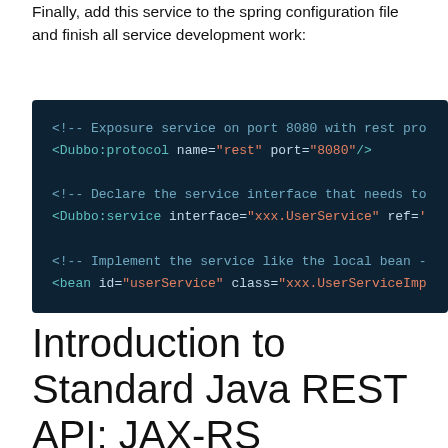Finally, add this service to the spring configuration file and finish all service development work:
[Figure (screenshot): Dark-themed code editor block showing XML Spring configuration with Dubbo protocol and service declarations. Lines include: <!-- Exposure service on port 8080 with rest pro... -->, <Dubbo:protocol name="rest" port="8080"/>, <!-- Declare the service interface that needs to... -->, <Dubbo:service interface="xxx.UserService" ref="..."/>, <!-- Implement the service like the local bean ... -->, <bean id="userService" class="xxx.UserServiceImp..."]
Introduction to Standard Java REST API: JAX-RS